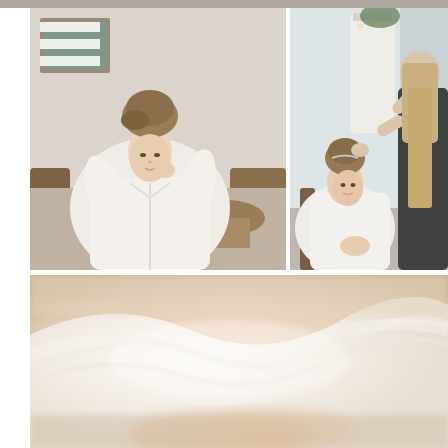[Figure (photo): Top-left: A bride in a white satin robe with her hair in a braided updo, touching her face gently while seated in a chair. A painting and wooden furniture visible in the background.]
[Figure (photo): Top-right: A bride in a white satin robe seated in a chair smiling while a hairstylist in a dark sequined dress works on her braided updo. A wedding dress hanging in the background with string lights.]
[Figure (photo): Bottom: Close-up soft-focus photo of white/ivory fabric (likely a wedding dress or veil) with a warm blurred background, showing delicate folds and texture.]